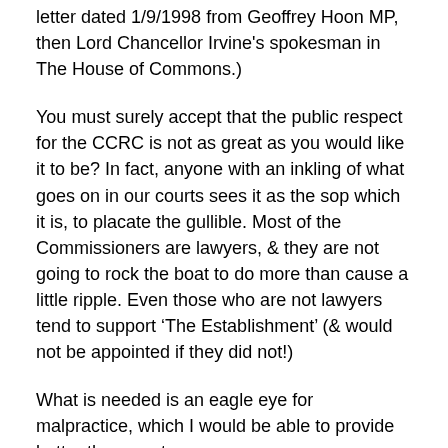letter dated 1/9/1998 from Geoffrey Hoon MP, then Lord Chancellor Irvine's spokesman in The House of Commons.)
You must surely accept that the public respect for the CCRC is not as great as you would like it to be? In fact, anyone with an inkling of what goes on in our courts sees it as the sop which it is, to placate the gullible. Most of the Commissioners are lawyers, & they are not going to rock the boat to do more than cause a little ripple. Even those who are not lawyers tend to support ‘The Establishment’ (& would not be appointed if they did not!)
What is needed is an eagle eye for malpractice, which I would be able to provide better than most.